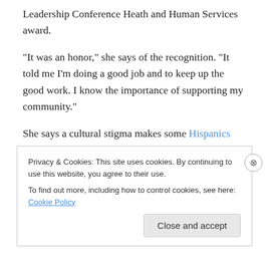Leadership Conference Heath and Human Services award.
“It was an honor,” she says of the recognition. “It told me I’m doing a good job and to keep up the good work. I know the importance of supporting my community.”
She says a cultural stigma makes some Hispanics reluctant to reveal they have a special needs child or reticent to talk about the situation. Her job is identifying families and empowering them to get the help or take the action they need.
Privacy & Cookies: This site uses cookies. By continuing to use this website, you agree to their use. To find out more, including how to control cookies, see here: Cookie Policy